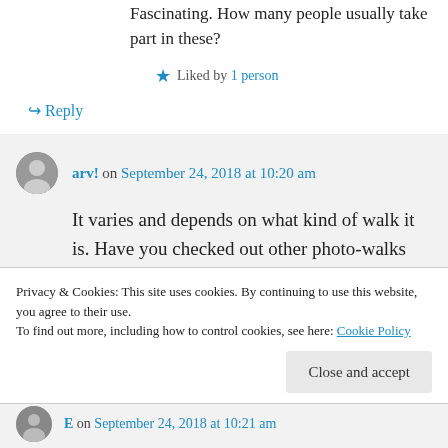Fascinating. How many people usually take part in these?
Liked by 1 person
Reply
arv! on September 24, 2018 at 10:20 am
It varies and depends on what kind of walk it is. Have you checked out other photo-walks that I have listed on the blog?
Privacy & Cookies: This site uses cookies. By continuing to use this website, you agree to their use.
To find out more, including how to control cookies, see here: Cookie Policy
Close and accept
E on September 24, 2018 at 10:21 am